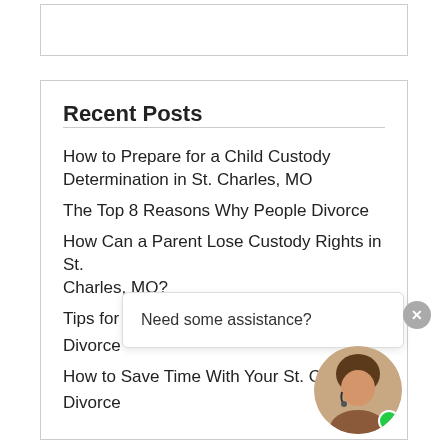Recent Posts
How to Prepare for a Child Custody Determination in St. Charles, MO
The Top 8 Reasons Why People Divorce
How Can a Parent Lose Custody Rights in St. Charles, MO?
Tips for Successful Co-Parenting After Divorce
How to Save Time With Your St. Charles, MO Divorce